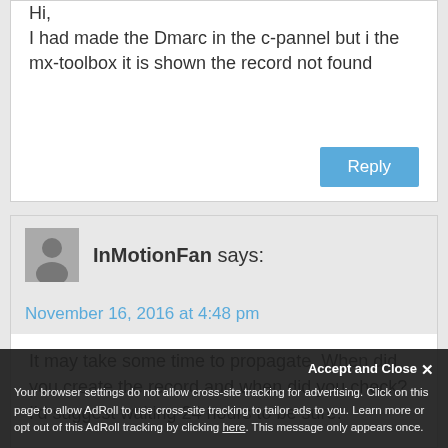Hi, I had made the Dmarc in the c-pannel but i the mx-toolbox it is shown the record not found
Reply
InMotionFan says:
November 16, 2016 at 4:48 pm
It may take some time to propagate. When did you create the record and when did you check? I'd suggest waiting 24 hours to be sure.
Accept and Close
Your browser settings do not allow cross-site tracking for advertising. Click on this page to allow AdRoll to use cross-site tracking to tailor ads to you. Learn more or opt out of this AdRoll tracking by clicking here. This message only appears once.